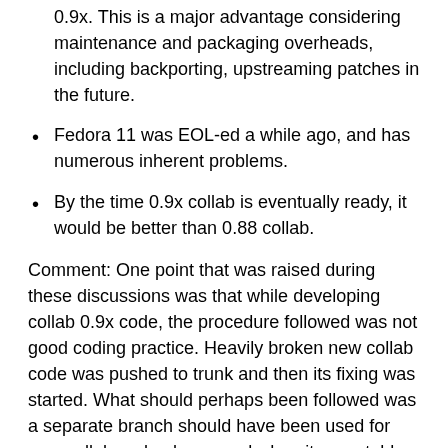0.9x. This is a major advantage considering maintenance and packaging overheads, including backporting, upstreaming patches in the future.
Fedora 11 was EOL-ed a while ago, and has numerous inherent problems.
By the time 0.9x collab is eventually ready, it would be better than 0.88 collab.
Comment: One point that was raised during these discussions was that while developing collab 0.9x code, the procedure followed was not good coding practice. Heavily broken new collab code was pushed to trunk and then its fixing was started. What should perhaps been followed was a separate branch should have been used for new collab and only merged when it was stable enough (reference to a very long and fruitful discussion about deciding sugar version :))